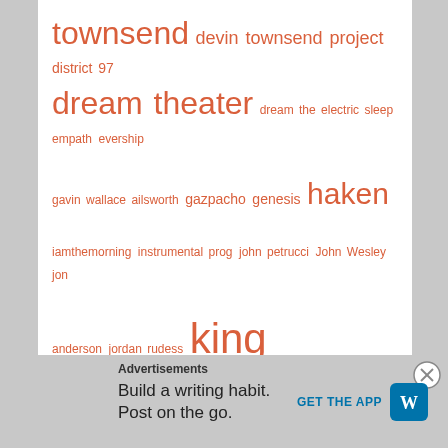[Figure (infographic): Tag cloud with music-related terms in orange/salmon color, varying font sizes indicating frequency/importance. Terms include: townsend, devin townsend project, district 97, dream theater, dream the electric sleep, empath, evership, gavin wallace ailsworth, gazpacho, genesis, haken, iamthemorning, instrumental prog, john petrucci, John Wesley, jon anderson, jordan rudess, king crimson, kings x, kscope, leprous, major parkinson, marillion, mike keneally, Mike Portnoy, moron police, music, neal morse, nick dvirgilio, pain of salvation, patreon, Podcast, porcupine tree, Prog, prog festivals, proglodytes, proglodytes radio, proglodytes radio podcast, prog metal, progressive, progressive metal]
Advertisements
Build a writing habit. Post on the go.
GET THE APP